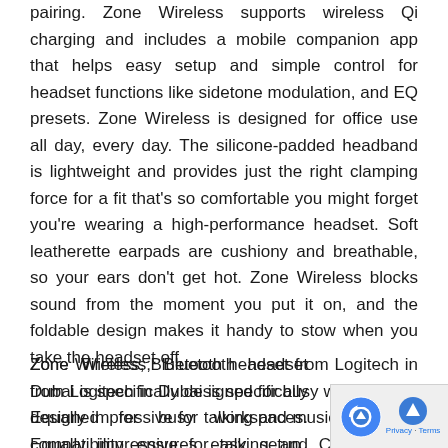pairing. Zone Wireless supports wireless Qi charging and includes a mobile companion app that helps easy setup and simple control for headset functions like sidetone modulation, and EQ presets. Zone Wireless is designed for office use all day, every day. The silicone-padded headband is lightweight and provides just the right clamping force for a fit that's so comfortable you might forget you're wearing a high-performance headset. Soft leatherette earpads are cushiony and breathable, so your ears don't get hot. Zone Wireless blocks sound from the moment you put it on, and the foldable design makes it handy to stow when you take the headset off.
Zone Wireless, Bluetooth headset from Logitech in Dubai is specifically designed for busy workspaces. Equally impressive for talking and music. Universal compatibility ensures easy setup. Connects to smartphones and computers simultaneously and features simple controls to flip to mute mic and Qi charging.
[Figure (other): Cookie consent popup overlay in bottom-right corner with reCAPTCHA logo, blue circle with up arrow, and Privacy/Terms text links]